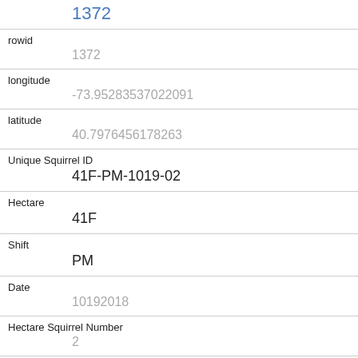1372
rowid
1372
longitude
-73.95283537022091
latitude
40.7976456178263
Unique Squirrel ID
41F-PM-1019-02
Hectare
41F
Shift
PM
Date
10192018
Hectare Squirrel Number
2
Age
Primary Fur Color